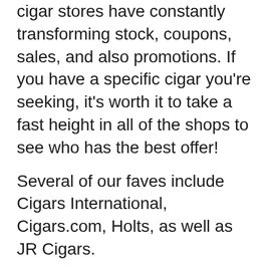cigar stores have constantly transforming stock, coupons, sales, and also promotions. If you have a specific cigar you're seeking, it's worth it to take a fast height in all of the shops to see who has the best offer!
Several of our faves include Cigars International, Cigars.com, Holts, as well as JR Cigars.
If we had to give you an response for that our favored on the internet cigar store is, the solution is simple: Famous Smoke Shop.
In our opinion, it's really difficult to beat the consistent deals and promos used by Famous Smoke. They have a significant option of remarkable cigars as well as they're